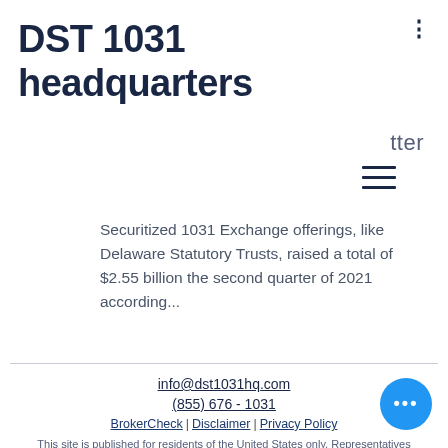DST 1031 headquarters
tter
Securitized 1031 Exchange offerings, like Delaware Statutory Trusts, raised a total of $2.55 billion the second quarter of 2021 according...
info@dst1031hq.com
(855) 676 - 1031
BrokerCheck | Disclaimer | Privacy Policy
This site is published for residents of the United States only. Representatives may only conduct business with residents of the states and jurisdictions in which they are properly registered. Therefore, a response to a request for information may be delayed until appropriate registration is obtained or exemption from registration is determined. Not all services referenced on this